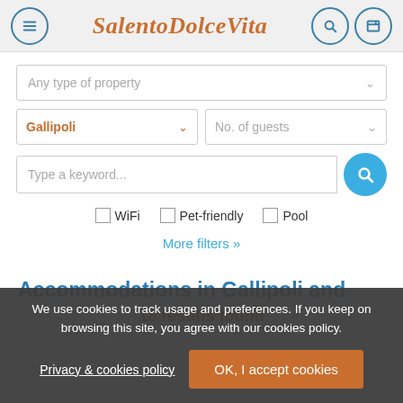SalentoDolceVita
[Figure (screenshot): Search interface with dropdown for property type, location (Gallipoli), number of guests, keyword search box with search button, checkboxes for WiFi, Pet-friendly, Pool filters, and More filters link]
Accommodations in Gallipoli and
18 results found
We use cookies to track usage and preferences. If you keep on browsing this site, you agree with our cookies policy.
Privacy & cookies policy
OK, I accept cookies